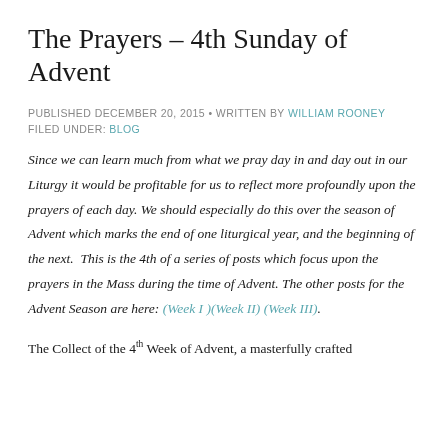The Prayers – 4th Sunday of Advent
PUBLISHED DECEMBER 20, 2015 • WRITTEN BY WILLIAM ROONEY
FILED UNDER: BLOG
Since we can learn much from what we pray day in and day out in our Liturgy it would be profitable for us to reflect more profoundly upon the prayers of each day. We should especially do this over the season of Advent which marks the end of one liturgical year, and the beginning of the next.  This is the 4th of a series of posts which focus upon the prayers in the Mass during the time of Advent. The other posts for the Advent Season are here: (Week I )(Week II) (Week III).
The Collect of the 4th Week of Advent, a masterfully crafted